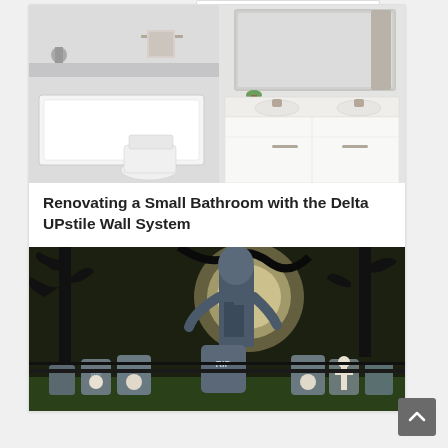[Figure (photo): Photo of a renovated small bathroom showing a white bathtub/shower combo on the left with a tile border, toilet, and on the right a white vanity with marble countertop, double sink with brushed nickel faucets, and a large mirror. Bright, clean modern bathroom.]
Renovating a Small Bathroom with the Delta UPstile Wall System
[Figure (photo): Halloween yard decoration scene featuring multiple tombstones with skeleton faces and 'RIP' inscriptions arranged on a lawn, bare black spooky trees, and a large werewolf or monster statue standing in the center, with a glowing full moon backdrop.]